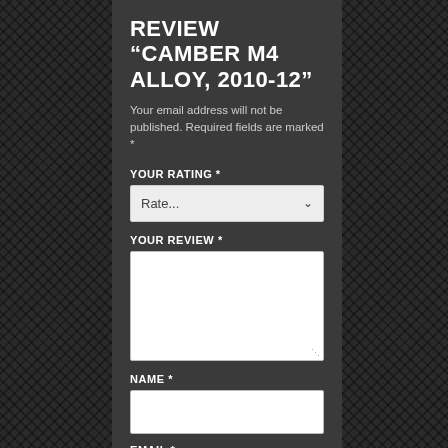REVIEW “CAMBER M4 ALLOY, 2010-12”
Your email address will not be published. Required fields are marked *
YOUR RATING *
Rate...
YOUR REVIEW *
NAME *
EMAIL *